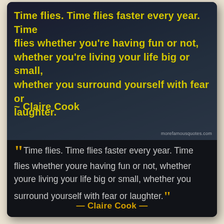[Figure (illustration): Dark navy/charcoal background with yellow bold text showing the Claire Cook quote about time flying, and watermark 'morefamousquotes.com' in bottom right]
Time flies. Time flies faster every year. Time flies whether youre having fun or not, whether youre living your life big or small, whether you surround yourself with fear or laughter.
— Claire Cook —